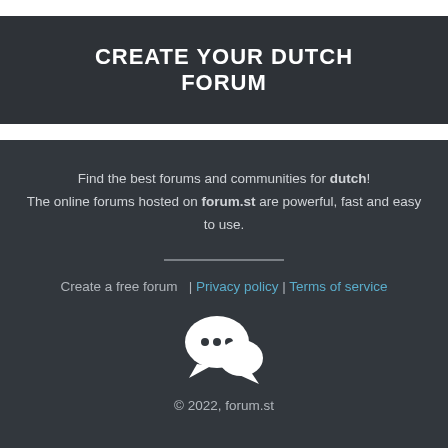CREATE YOUR DUTCH FORUM
Find the best forums and communities for dutch! The online forums hosted on forum.st are powerful, fast and easy to use.
Create a free forum  | Privacy policy | Terms of service
[Figure (illustration): White chat bubbles / forum icon]
© 2022, forum.st